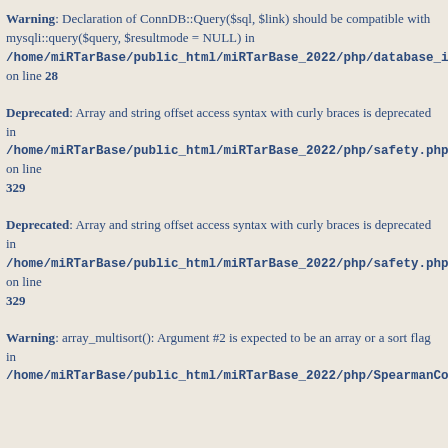Warning: Declaration of ConnDB::Query($sql, $link) should be compatible with mysqli::query($query, $resultmode = NULL) in /home/miRTarBase/public_html/miRTarBase_2022/php/database_ini.php on line 28
Deprecated: Array and string offset access syntax with curly braces is deprecated in /home/miRTarBase/public_html/miRTarBase_2022/php/safety.php on line 329
Deprecated: Array and string offset access syntax with curly braces is deprecated in /home/miRTarBase/public_html/miRTarBase_2022/php/safety.php on line 329
Warning: array_multisort(): Argument #2 is expected to be an array or a sort flag in /home/miRTarBase/public_html/miRTarBase_2022/php/SpearmanCorrelat